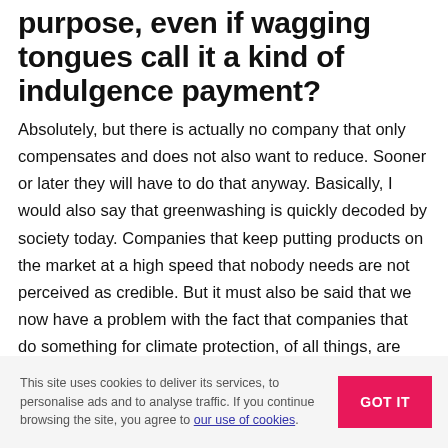purpose, even if wagging tongues call it a kind of indulgence payment?
Absolutely, but there is actually no company that only compensates and does not also want to reduce. Sooner or later they will have to do that anyway. Basically, I would also say that greenwashing is quickly decoded by society today. Companies that keep putting products on the market at a high speed that nobody needs are not perceived as credible. But it must also be said that we now have a problem with the fact that companies that do something for climate protection, of all things, are now very quickly
This site uses cookies to deliver its services, to personalise ads and to analyse traffic. If you continue browsing the site, you agree to our use of cookies.